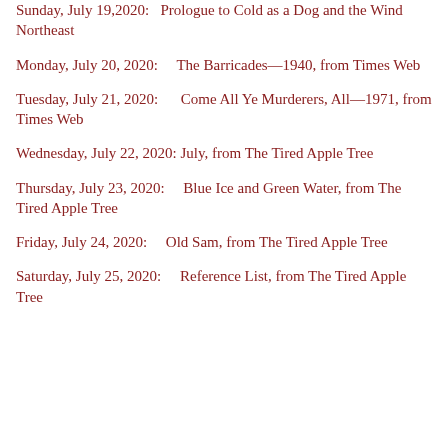Sunday, July 19, 2020:   Prologue to Cold as a Dog and the Wind Northeast
Monday, July 20, 2020:    The Barricades—1940, from Times Web
Tuesday, July 21, 2020:    Come All Ye Murderers, All—1971, from Times Web
Wednesday, July 22, 2020: July, from The Tired Apple Tree
Thursday, July 23, 2020:    Blue Ice and Green Water, from The Tired Apple Tree
Friday, July 24, 2020:    Old Sam, from The Tired Apple Tree
Saturday, July 25, 2020:    Reference List, from The Tired Apple Tree